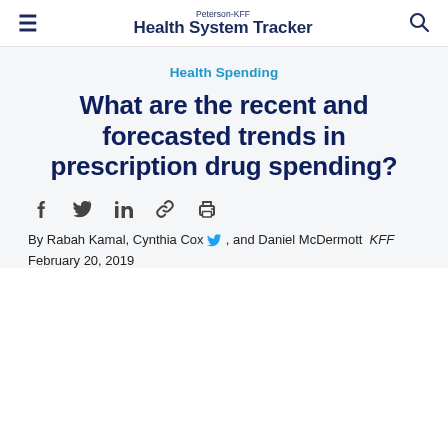Peterson-KFF Health System Tracker
Health Spending
What are the recent and forecasted trends in prescription drug spending?
By Rabah Kamal, Cynthia Cox, and Daniel McDermott KFF
February 20, 2019